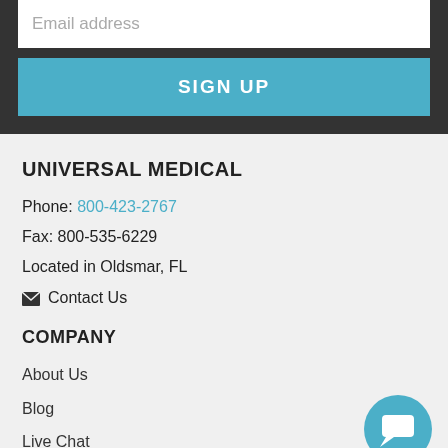Email address
SIGN UP
UNIVERSAL MEDICAL
Phone: 800-423-2767
Fax: 800-535-6229
Located in Oldsmar, FL
Contact Us
COMPANY
About Us
Blog
Live Chat